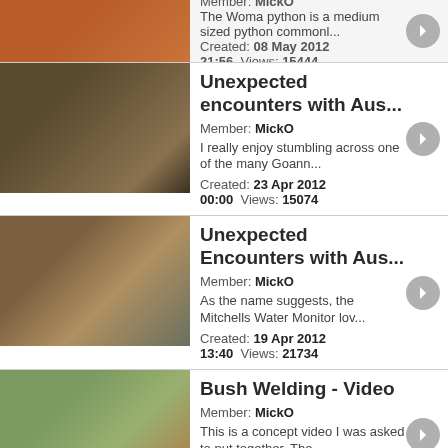Member: MickO | The Woma python is a medium sized python commonl... | Created: 08 May 2012 21:56 Views: 15444
Unexpected encounters with Aus... | Member: MickO | I really enjoy stumbling across one of the many Goann... | Created: 23 Apr 2012 00:00 Views: 15074
Unexpected Encounters with Aus... | Member: MickO | As the name suggests, the Mitchells Water Monitor lov... | Created: 19 Apr 2012 13:40 Views: 21734
Bush Welding - Video | Member: MickO | This is a concept video I was asked to put together. The... | Created: 14 Mar 2012 22:52 Views: 11420
Australian Reptiles - The blog. Cl... | Member: MickO | One of the great things about travelling the wide brow... | Created: 25 Feb 2012 12:00 Views: 14564
Unexpected Encounters with Au...